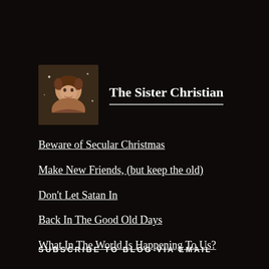[Figure (photo): Circular/square profile photo of a person with short hair, smiling, on dark background]
The Sister Christian
Beware of Secular Christmas
Make New Friends, (but keep the old)
Don't Let Satan In
Back In The Good Old Days
What In The World Is Happening To Us?
SUBSCRIBE TO BLOG VIA EMAIL